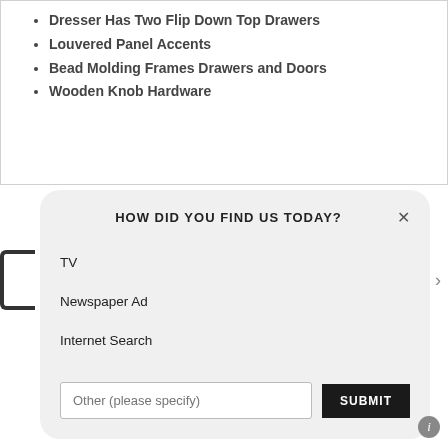Dresser Has Two Flip Down Top Drawers
Louvered Panel Accents
Bead Molding Frames Drawers and Doors
Wooden Knob Hardware
HOW DID YOU FIND US TODAY?
TV
Newspaper Ad
Internet Search
Other (please specify)
SUBMIT